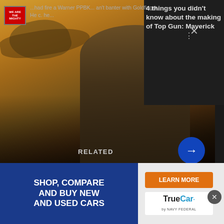[Figure (screenshot): Top Gun Maverick movie promotional image with actor in flight gear, with overlaid notification about 4 things you didn't know about the making of Top Gun: Maverick]
4 things you didn't know about the making of Top Gun: Maverick
RELATED
This Navy hero's descendants were baptized on the ship named after him
The U.S. Navy places great emphasis on its...
[Figure (photo): American flag with stars, red white and blue stripes, with a person visible on the right side in black and white]
RELATED
Green Beret joins Warrior Rising
[Figure (infographic): TrueCar advertisement banner: Shop, Compare and Buy New and Used Cars with Learn More button and TrueCar by Navy Federal logo]